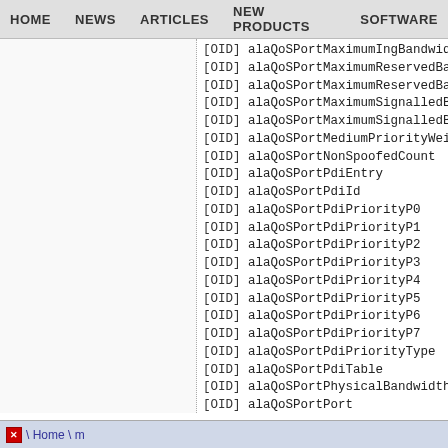HOME  NEWS  ARTICLES  NEW PRODUCTS  SOFTWARE
[OID]  alaQoSPortMaximumIngBandwidth
[OID]  alaQoSPortMaximumReservedBan
[OID]  alaQoSPortMaximumReservedBan
[OID]  alaQoSPortMaximumSignalledBa
[OID]  alaQoSPortMaximumSignalledBa
[OID]  alaQoSPortMediumPriorityWeig
[OID]  alaQoSPortNonSpoofedCount
[OID]  alaQoSPortPdiEntry
[OID]  alaQoSPortPdiId
[OID]  alaQoSPortPdiPriorityP0
[OID]  alaQoSPortPdiPriorityP1
[OID]  alaQoSPortPdiPriorityP2
[OID]  alaQoSPortPdiPriorityP3
[OID]  alaQoSPortPdiPriorityP4
[OID]  alaQoSPortPdiPriorityP5
[OID]  alaQoSPortPdiPriorityP6
[OID]  alaQoSPortPdiPriorityP7
[OID]  alaQoSPortPdiPriorityType
[OID]  alaQoSPortPdiTable
[OID]  alaQoSPortPhysicalBandwidth
[OID]  alaQoSPortPort
[OID]  alaQoSPortProtocolClassifica
[OID]  alaQoSPortProtocolEntry
[OID]  alaQoSPortProtocolId
[OID]  alaQoSPortProtocolPriorityP0
[OID]  alaQoSPortProtocolPriorityP...
\  Home \ m